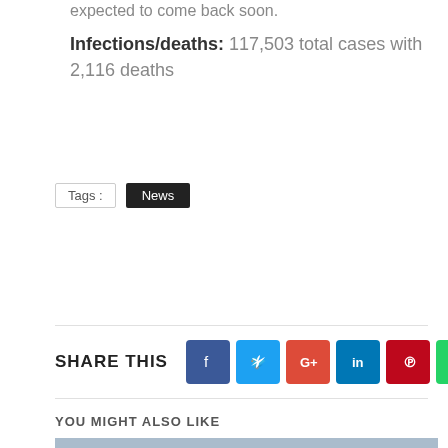expected to come back soon.
Infections/deaths: 117,503 total cases with 2,116 deaths
Tags : News
SHARE THIS
[Figure (infographic): Social share buttons: Facebook, Twitter, Google+, LinkedIn, Pinterest, WhatsApp]
YOU MIGHT ALSO LIKE
[Figure (photo): Exterior photo of a commercial building with a curved roof, signs, and a parking lot]